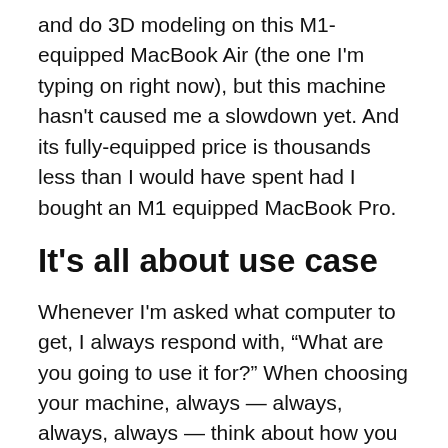and do 3D modeling on this M1-equipped MacBook Air (the one I'm typing on right now), but this machine hasn't caused me a slowdown yet. And its fully-equipped price is thousands less than I would have spent had I bought an M1 equipped MacBook Pro.
It's all about use case
Whenever I'm asked what computer to get, I always respond with, “What are you going to use it for?” When choosing your machine, always — always, always, always — think about how you want to use your machine. That should dictate your purpose.
As for future M1 Pro and M1 Max machines, I'm guessing we didn't see an iMac or Mac mini